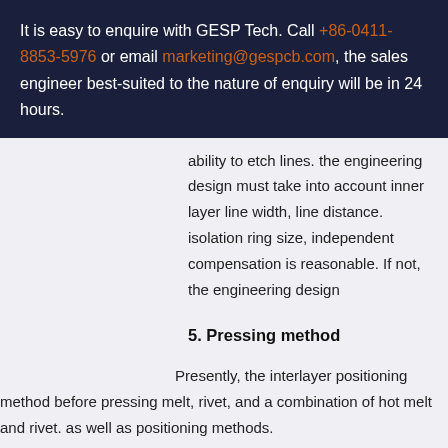It is easy to enquire with GESP Tech. Call +86-0411-8853-5976 or email marketing@gespcb.com, the sales engineer best-suited to the nature of enquiry will be in 24 hours.
ability to etch lines. the engineering design must take into account inner layer line width, line distance. isolation ring size, independence compensation is reasonable. If not, the engineering design
5. Pressing method
Presently, the interlayer positioning method before pressing melt, rivet, and a combination of hot melt and rivet. as well as positioning methods.
6. Drilling method